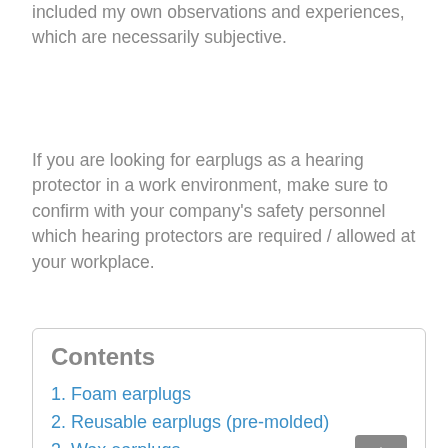included my own observations and experiences, which are necessarily subjective.
If you are looking for earplugs as a hearing protector in a work environment, make sure to confirm with your company's safety personnel which hearing protectors are required / allowed at your workplace.
Contents
1. Foam earplugs
2. Reusable earplugs (pre-molded)
3. Wax earplugs